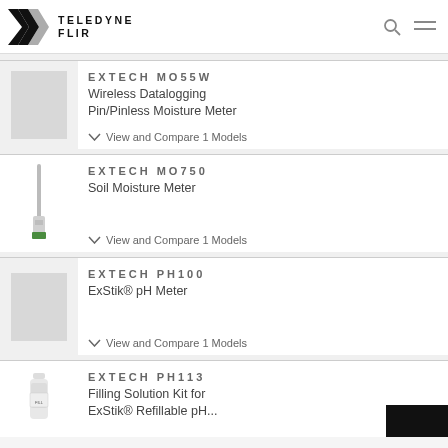TELEDYNE FLIR
EXTECH MO55W
Wireless Datalogging Pin/Pinless Moisture Meter
View and Compare 1 Models
EXTECH MO750
Soil Moisture Meter
View and Compare 1 Models
EXTECH PH100
ExStik® pH Meter
View and Compare 1 Models
EXTECH PH113
Filling Solution Kit for ExStik® Refillable pH...